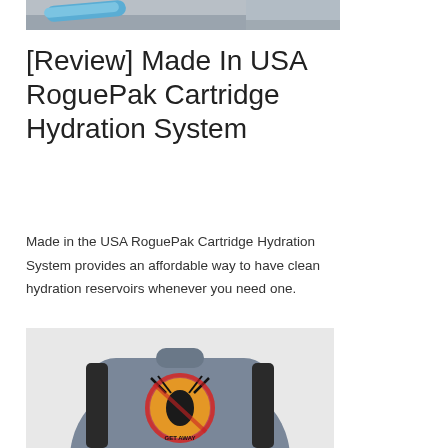[Figure (photo): Top portion of a photo showing a blue tube/hydration component on a grey surface]
[Review] Made In USA RoguePak Cartridge Hydration System
Made in the USA RoguePak Cartridge Hydration System provides an affordable way to have clean hydration reservoirs whenever you need one.
[Figure (photo): Photo of a grey and black backpack/hydration pack with a colorful graphic design on the back, showing the RoguePak Cartridge Hydration System]